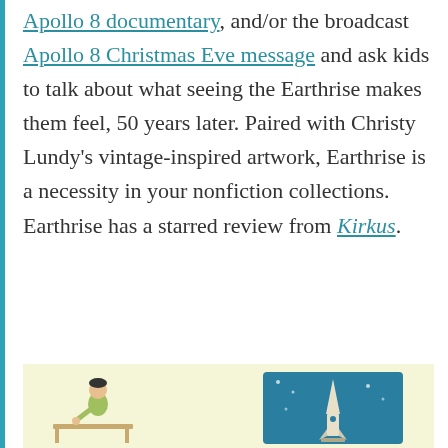Apollo 8 documentary, and/or the broadcast Apollo 8 Christmas Eve message and ask kids to talk about what seeing the Earthrise makes them feel, 50 years later. Paired with Christy Lundy's vintage-inspired artwork, Earthrise is a necessity in your nonfiction collections. Earthrise has a starred review from Kirkus.
[Figure (illustration): Vintage-style illustration showing a figure at a desk on the left and a rocket/space scene on the right, on a pale yellow background.]